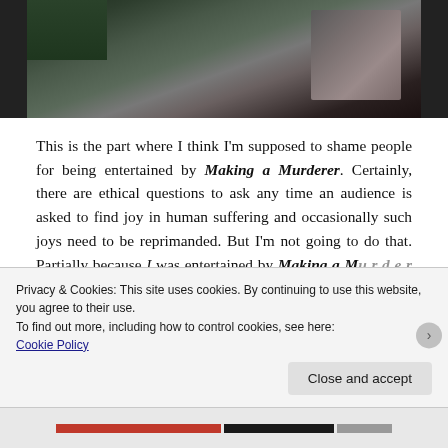[Figure (photo): Partial photo showing people seated, one in a dark suit, teal/green chairs visible in background, cropped at top of page.]
This is the part where I think I'm supposed to shame people for being entertained by Making a Murderer. Certainly, there are ethical questions to ask any time an audience is asked to find joy in human suffering and occasionally such joys need to be reprimanded. But I'm not going to do that. Partially because I was entertained by Making a Murderer, but also because entertainment is not
Privacy & Cookies: This site uses cookies. By continuing to use this website, you agree to their use.
To find out more, including how to control cookies, see here: Cookie Policy
Close and accept